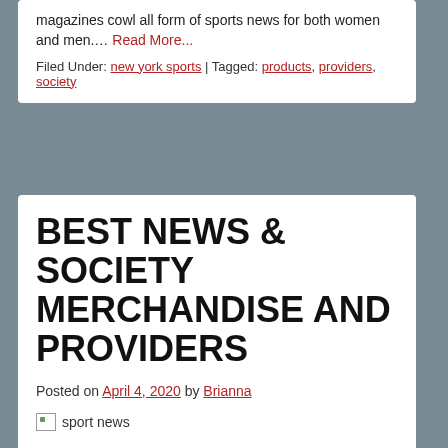magazines cowl all form of sports news for both women and men.… Read More...
Filed Under: new york sports | Tagged: products, providers, society
BEST NEWS & SOCIETY MERCHANDISE AND PROVIDERS
Posted on April 4, 2020 by Brianna
[Figure (photo): Broken image placeholder with alt text 'sport news']
The Wakefield, MA sports activities news online covers all native news including sports activities, business, jobs, neighborhood and so forth. The sports activities social network additionally presents a new actual time type of communication that can react sooner than the press. Get crucial breaking sports news alerts to your inbox. Find your source for the breaking sports news, and articles on competitive and leisure sports activities, online sport scores and many others.